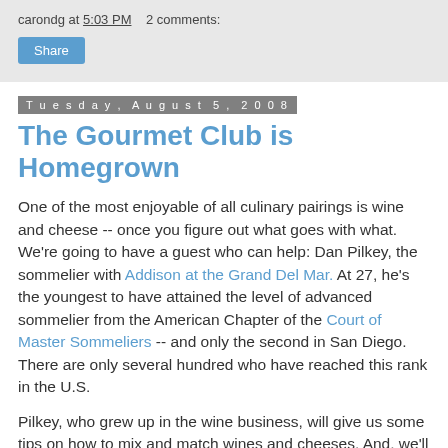carondg at 5:03 PM    2 comments:
Share
Tuesday, August 5, 2008
The Gourmet Club is Homegrown
One of the most enjoyable of all culinary pairings is wine and cheese -- once you figure out what goes with what. We're going to have a guest who can help: Dan Pilkey, the sommelier with Addison at the Grand Del Mar. At 27, he's the youngest to have attained the level of advanced sommelier from the American Chapter of the Court of Master Sommeliers -- and only the second in San Diego. There are only several hundred who have reached this rank in the U.S.
Pilkey, who grew up in the wine business, will give us some tips on how to mix and match wines and cheeses. And, we'll try to emphasize some more summery wines so that you can go out and try some of his suggestions now, whether it be at a picnic dinner during an outdoor concert or as a special